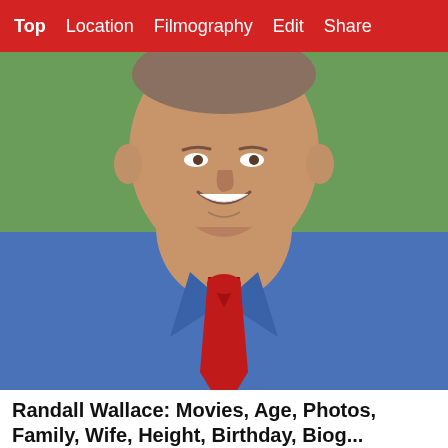Top  Location  Filmography  Edit  Share
[Figure (photo): Older man smiling, wearing a blue shirt and red tie, photographed from chest up]
Randall Wallace: Movies, Age, Photos, Family, Wife, Height, Birthday, Biog...
[Figure (photo): Young woman with dark hair pulled back, hands on head, shown from shoulders up, warm indoor background]